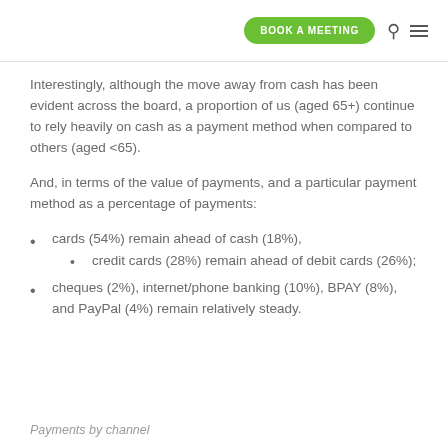BOOK A MEETING
Interestingly, although the move away from cash has been evident across the board, a proportion of us (aged 65+) continue to rely heavily on cash as a payment method when compared to others (aged <65).
And, in terms of the value of payments, and a particular payment method as a percentage of payments:
cards (54%) remain ahead of cash (18%),
credit cards (28%) remain ahead of debit cards (26%);
cheques (2%), internet/phone banking (10%), BPAY (8%), and PayPal (4%) remain relatively steady.
Payments by channel